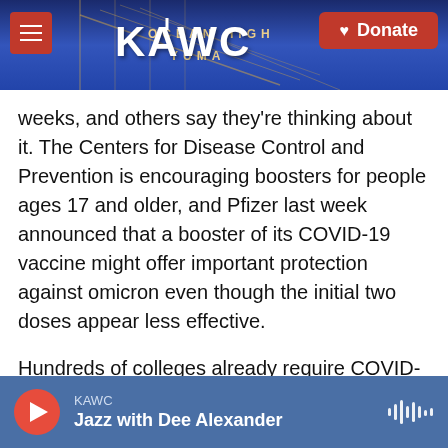KAWC — Donate
weeks, and others say they're thinking about it. The Centers for Disease Control and Prevention is encouraging boosters for people ages 17 and older, and Pfizer last week announced that a booster of its COVID-19 vaccine might offer important protection against omicron even though the initial two doses appear less effective.
Hundreds of colleges already require COVID-19 vaccines, and some say boosters are an obvious next step.
Most booster mandates so far have come from
KAWC — Jazz with Dee Alexander